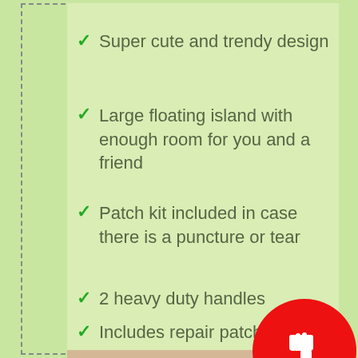Super cute and trendy design
Large floating island with enough room for you and a friend
Patch kit included in case there is a puncture or tear
2 heavy duty handles
Includes repair patch
[Figure (illustration): Red circle with a white thumbs-down icon, overlapping a beige/tan rectangle at the bottom of the page]